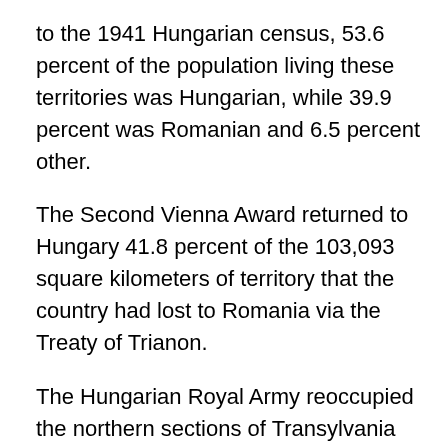to the 1941 Hungarian census, 53.6 percent of the population living these territories was Hungarian, while 39.9 percent was Romanian and 6.5 percent other.
The Second Vienna Award returned to Hungary 41.8 percent of the 103,093 square kilometers of territory that the country had lost to Romania via the Treaty of Trianon.
The Hungarian Royal Army reoccupied the northern sections of Transylvania and the Partium during the first half of September 1940, while Regent Horthy again conducted the symbolic reincorporation of some the of major cities located in the territories into the Hungary, leading ceremonial processions on horseback into Szatmárnémeti on September 5 and Nagyvárad on September 6.